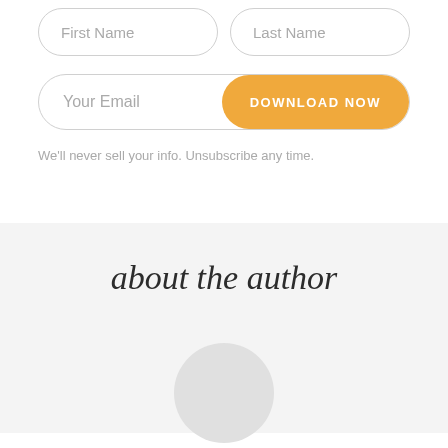First Name
Last Name
Your Email
DOWNLOAD NOW
We'll never sell your info. Unsubscribe any time.
about the author
[Figure (photo): Circular author avatar placeholder at bottom of page]